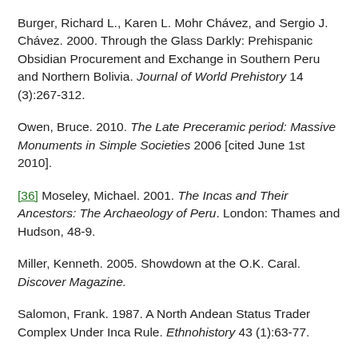Burger, Richard L., Karen L. Mohr Chávez, and Sergio J. Chávez. 2000. Through the Glass Darkly: Prehispanic Obsidian Procurement and Exchange in Southern Peru and Northern Bolivia. Journal of World Prehistory 14 (3):267-312.
Owen, Bruce. 2010. The Late Preceramic period: Massive Monuments in Simple Societies 2006 [cited June 1st 2010].
[36] Moseley, Michael. 2001. The Incas and Their Ancestors: The Archaeology of Peru. London: Thames and Hudson, 48-9.
Miller, Kenneth. 2005. Showdown at the O.K. Caral. Discover Magazine.
Salomon, Frank. 1987. A North Andean Status Trader Complex Under Inca Rule. Ethnohistory 43 (1):63-77.
Burger, Richard. 1992. Chavin and the Origins of Andean